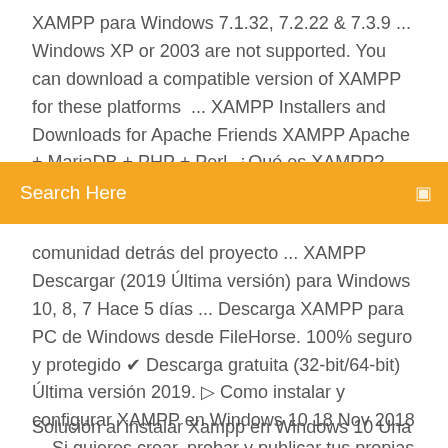XAMPP para Windows 7.1.32, 7.2.22 & 7.3.9 ... Windows XP or 2003 are not supported. You can download a compatible version of XAMPP for these platforms  ... XAMPP Installers and Downloads for Apache Friends XAMPP Apache + MariaDB + PHP + Perl. ¿Qué es XAMPP? XAMPP es el entorno más popular
Search Here
comunidad detrás del proyecto ... XAMPP Descargar (2019 Última versión) para Windows 10, 8, 7 Hace 5 días ... Descarga XAMPP para PC de Windows desde FileHorse. 100% seguro y protegido ✔ Descarga gratuita (32-bit/64-bit) Última versión 2019. ▷ Como instalar y configurar XAMPP en Windows 10 18 Nov 2018 ... Si quieres crear, probar y publicar tus propias páginas webs, 🔗 en este artículo te enseñamos como instalar y configurar XAMPP Windows 10.
Solución al instalar Xampp en Windows 10 Una actualización de